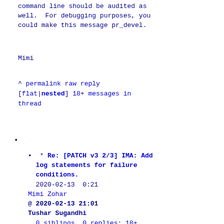command line should be audited as well.  For debugging purposes, you could make this message pr_devel.
Mimi
^ permalink raw reply [flat|nested] 18+ messages in thread
* Re: [PATCH v3 2/3] IMA: Add log statements for failure conditions.
  2020-02-13  0:21
Mimi Zohar
@ 2020-02-13 21:01
Tushar Sugandhi
  0 siblings, 0 replies; 18+ messages in thread
From: Tushar Sugandhi @ 2020-02-13 21:01 UTC (permalink / raw)
  To: Mimi Zohar, joe, skhan, linux-integrity; +Cc: sashal, nramas, linux-kernel